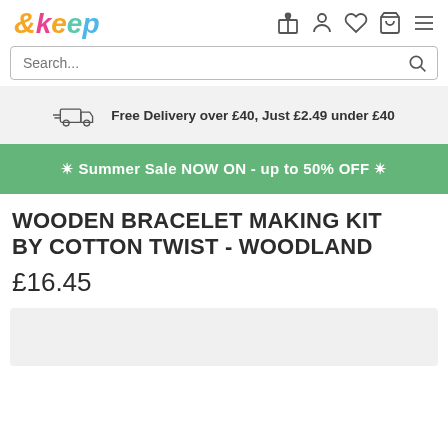&keep logo and navigation icons
Search...
Free Delivery over £40, Just £2.49 under £40
✴ Summer Sale NOW ON - up to 50% OFF ✴
WOODEN BRACELET MAKING KIT BY COTTON TWIST - WOODLAND
£16.45
[Figure (photo): Product image placeholder (light grey background, partially visible)]